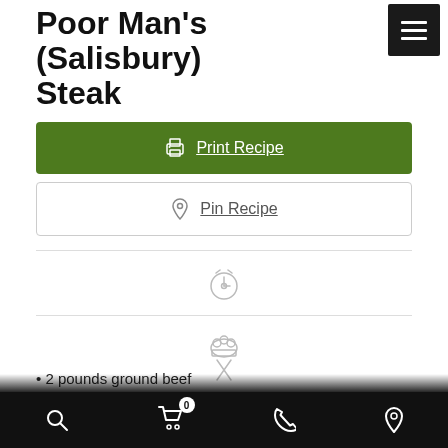Poor Man's (Salisbury) Steak
[Figure (screenshot): Green Print Recipe button with printer icon]
[Figure (screenshot): White Pin Recipe button with Pinterest icon]
[Figure (illustration): Gray cooking/recipe icons: timer icon and chef hat with crossed utensils]
INGREDIENTS
Meat
2 pounds ground beef
Search | Cart (0) | Phone | Location